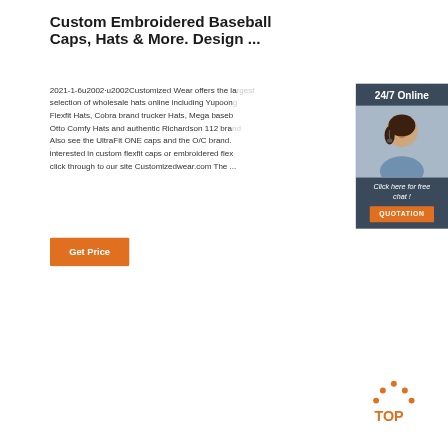Custom Embroidered Baseball Caps, Hats & More. Design ...
2021-1-6u2002·u2002Customized Wear offers the largest selection of wholesale hats online including Yupoong Flexfit Hats, Cobra brand trucker Hats, Mega baseb Otto Comfy Hats and authentic Richardson 112 bra Also see the UltraFit ONE caps and the O/C brand. interested in custom flexfit caps or embroidered flex click through to our site Customizedwear.com The …
[Figure (photo): Customer service representative with headset, 24/7 Online chat widget with blue/dark background, 'Click here for free chat!' text, and orange QUOTATION button]
[Figure (other): Orange 'Get Price' button]
[Figure (other): Back to top icon with orange dots and TOP text]